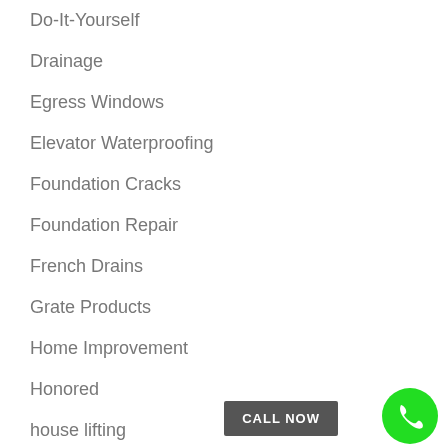Do-It-Yourself
Drainage
Egress Windows
Elevator Waterproofing
Foundation Cracks
Foundation Repair
French Drains
Grate Products
Home Improvement
Honored
house lifting
Humidity Control